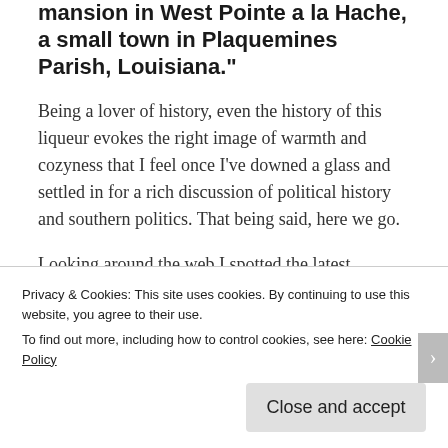mansion in West Pointe a la Hache, a small town in Plaquemines Parish, Louisiana."
Being a lover of history, even the history of this liqueur evokes the right image of warmth and cozyness that I feel once I've downed a glass and settled in for a rich discussion of political history and southern politics. That being said, here we go.
Looking around the web I spotted the latest campaign finance reports of several races I
Privacy & Cookies: This site uses cookies. By continuing to use this website, you agree to their use.
To find out more, including how to control cookies, see here: Cookie Policy
Close and accept